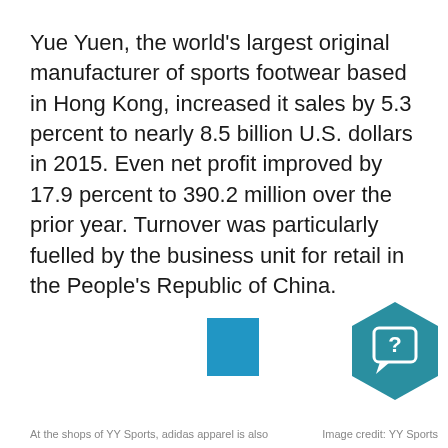Yue Yuen, the world's largest original manufacturer of sports footwear based in Hong Kong, increased it sales by 5.3 percent to nearly 8.5 billion U.S. dollars in 2015. Even net profit improved by 17.9 percent to 390.2 million over the prior year. Turnover was particularly fuelled by the business unit for retail in the People's Republic of China.
[Figure (other): A small blue square icon/placeholder in the lower center area of the page]
[Figure (other): A teal/dark cyan hexagon icon with a white speech bubble containing a question mark, positioned in the lower right area of the page]
At the shops of YY Sports, adidas apparel is also     Image credit: YY Sports